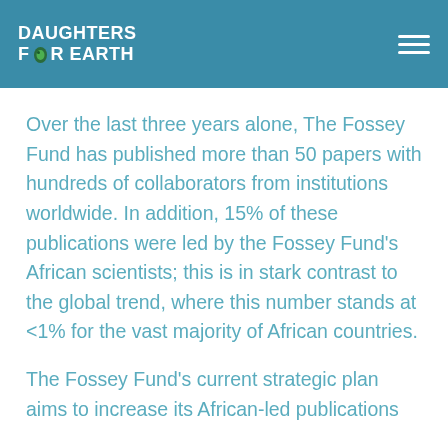DAUGHTERS FOR EARTH
Over the last three years alone, The Fossey Fund has published more than 50 papers with hundreds of collaborators from institutions worldwide. In addition, 15% of these publications were led by the Fossey Fund's African scientists; this is in stark contrast to the global trend, where this number stands at <1% for the vast majority of African countries.
The Fossey Fund's current strategic plan aims to increase its African-led publications